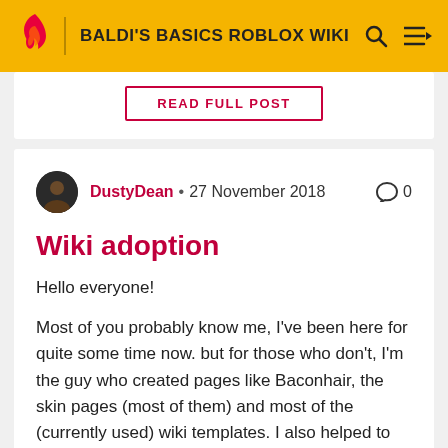BALDI'S BASICS ROBLOX WIKI
READ FULL POST
DustyDean · 27 November 2018  0
Wiki adoption
Hello everyone!
Most of you probably know me, I've been here for quite some time now. but for those who don't, I'm the guy who created pages like Baconhair, the skin pages (most of them) and most of the (currently used) wiki templates. I also helped to reorganize the wiki and to make sure every page is